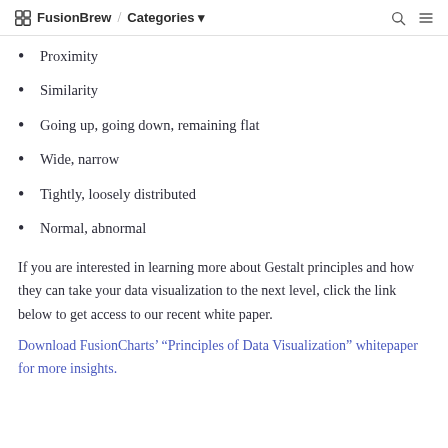FusionBrew / Categories
Proximity
Similarity
Going up, going down, remaining flat
Wide, narrow
Tightly, loosely distributed
Normal, abnormal
If you are interested in learning more about Gestalt principles and how they can take your data visualization to the next level, click the link below to get access to our recent white paper.
Download FusionCharts’ “Principles of Data Visualization” whitepaper for more insights.